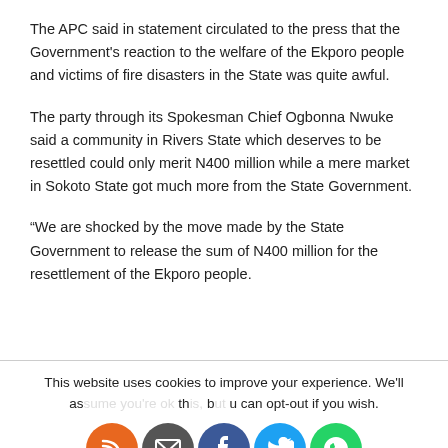The APC said in statement circulated to the press that the Government's reaction to the welfare of the Ekporo people and victims of fire disasters in the State was quite awful.
The party through its Spokesman Chief Ogbonna Nwuke said a community in Rivers State which deserves to be resettled could only merit N400 million while a mere market in Sokoto State got much more from the State Government.
“We are shocked by the move made by the State Government to release the sum of N400 million for the resettlement of the Ekporo people.
This website uses cookies to improve your experience. We'll assume you're ok with this, but you can opt-out if you wish.
Cookie settings  ACCEPT